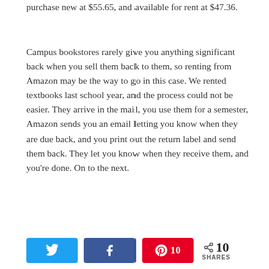purchase new at $55.65, and available for rent at $47.36.
Campus bookstores rarely give you anything significant back when you sell them back to them, so renting from Amazon may be the way to go in this case. We rented textbooks last school year, and the process could not be easier. They arrive in the mail, you use them for a semester, Amazon sends you an email letting you know when they are due back, and you print out the return label and send them back. They let you know when they receive them, and you’re done. On to the next.
Once you’ve got your books, there are many